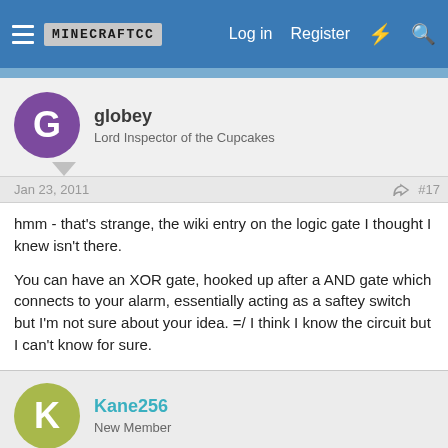MINECRAFTCC  Log in  Register
globey
Lord Inspector of the Cupcakes
Jan 23, 2011  #17
hmm - that's strange, the wiki entry on the logic gate I thought I knew isn't there.

You can have an XOR gate, hooked up after a AND gate which connects to your alarm, essentially acting as a saftey switch but I'm not sure about your idea. =/ I think I know the circuit but I can't know for sure.
Kane256
New Member
Jan 23, 2011  #18